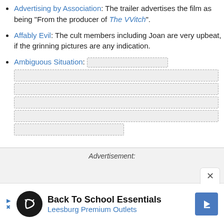Advertising by Association: The trailer advertises the film as being "From the producer of The VVitch".
Affably Evil: The cult members including Joan are very upbeat, if the grinning pictures are any indication.
Ambiguous Situation: [redacted content]
Advertisement: